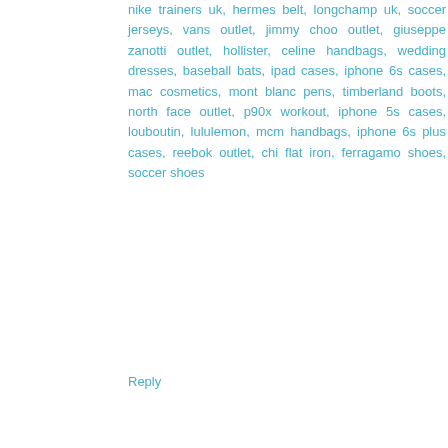nike trainers uk, hermes belt, longchamp uk, soccer jerseys, vans outlet, jimmy choo outlet, giuseppe zanotti outlet, hollister, celine handbags, wedding dresses, baseball bats, ipad cases, iphone 6s cases, mac cosmetics, mont blanc pens, timberland boots, north face outlet, p90x workout, iphone 5s cases, louboutin, lululemon, mcm handbags, iphone 6s plus cases, reebok outlet, chi flat iron, ferragamo shoes, soccer shoes
Reply
[Figure (other): Orange circular avatar with white letter B in the center]
oakleyses 3/17/2016
ugg,uggs,uggs canada, ray ban, ugg,ugg australia,ugg italia, louis vuitton, thomas sabo, canada goose, moncler, moncler uk, converse outlet, canada goose uk, moncler outlet, louis vuitton, juicy couture outlet, louis vuitton, karen millen uk, converse, swarovski crystal, louis vuitton, vans, canada goose, canada goose outlet, replica watches, lancel, moncler outlet, canada goose jackets, barbour, ugg pas cher, hollister, louis vuitton, moncler, marc jacobs, canada goose, pandora charms, pandora uk, ugg uk, swarovski, hollister, juicy couture outlet, moncler, supra